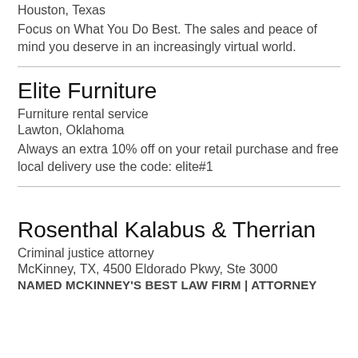Houston, Texas
Focus on What You Do Best. The sales and peace of mind you deserve in an increasingly virtual world.
Elite Furniture
Furniture rental service
Lawton, Oklahoma
Always an extra 10% off on your retail purchase and free local delivery use the code: elite#1
Rosenthal Kalabus & Therrian
Criminal justice attorney
McKinney, TX, 4500 Eldorado Pkwy, Ste 3000
NAMED MCKINNEY'S BEST LAW FIRM | ATTORNEY